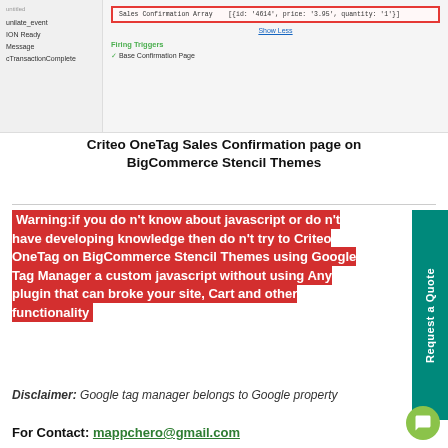[Figure (screenshot): Screenshot of a browser developer tools / tag manager panel showing Sales Confirmation Array with {id: '4614', price: '3.95', quantity: '1'} highlighted in red, with left panel showing unilate_event, ION Ready, Message, cTransactionComplete. Firing Triggers section shows Base Confirmation Page.]
Criteo OneTag Sales Confirmation page on BigCommerce Stencil Themes
Warning:if you do n't know about javascript or do n't have developing knowledge then do n't try to Criteo OneTag on BigCommerce Stencil Themes using Google Tag Manager a custom javascript without using Any plugin that can broke your site, Cart and other functionality
Disclaimer: Google tag manager belongs to Google property
For Contact: mappchero@gmail.com